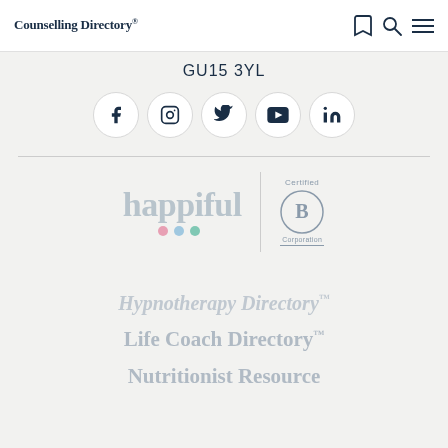Counselling Directory
GU15 3YL
[Figure (other): Social media icons in circles: Facebook, Instagram, Twitter, YouTube, LinkedIn]
[Figure (logo): happiful logo with colorful dots]
[Figure (logo): Certified B Corporation logo]
Hypnotherapy Directory™
Life Coach Directory™
Nutritionist Resource